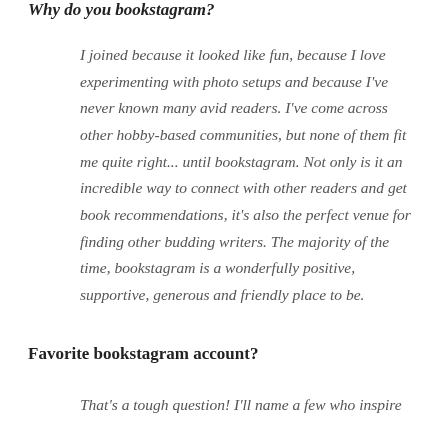Why do you bookstagram?
I joined because it looked like fun, because I love experimenting with photo setups and because I've never known many avid readers. I've come across other hobby-based communities, but none of them fit me quite right... until bookstagram. Not only is it an incredible way to connect with other readers and get book recommendations, it's also the perfect venue for finding other budding writers. The majority of the time, bookstagram is a wonderfully positive, supportive, generous and friendly place to be.
Favorite bookstagram account?
That's a tough question! I'll name a few who inspire